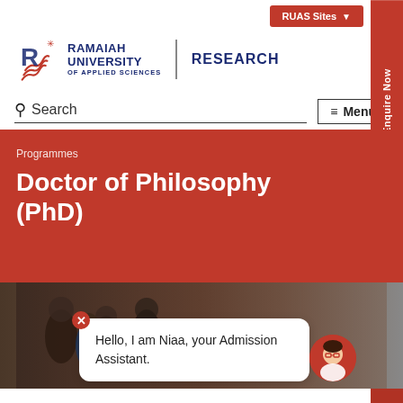RUAS Sites
[Figure (logo): Ramaiah University of Applied Sciences logo with stylized R emblem]
RESEARCH
Search
Menu
Enquire Now
Apply Now
Programmes
Doctor of Philosophy (PhD)
[Figure (photo): Students in a classroom or university setting, blurred background]
Hello, I am Niaa, your Admission Assistant.